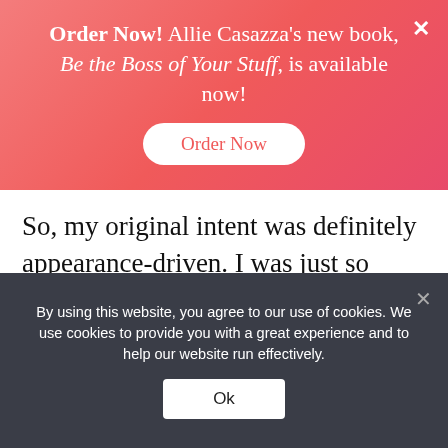Order Now! Allie Casazza's new book, Be the Boss of Your Stuff, is available now! [Order Now button]
So, my original intent was definitely appearance-driven. I was just so embarrassed to go back that way, so I did the Whole30. I did it twice in a row, but I think we headed back from Arkansas about halfway through my second round, so it was like the Whole 60, I guess.
By using this website, you agree to our use of cookies. We use cookies to provide you with a great experience and to help our website run effectively. [Ok button]